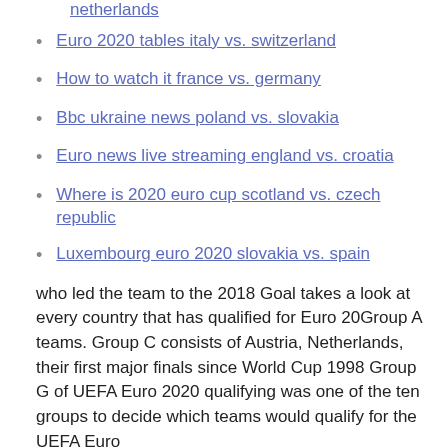netherlands
Euro 2020 tables italy vs. switzerland
How to watch it france vs. germany
Bbc ukraine news poland vs. slovakia
Euro news live streaming england vs. croatia
Where is 2020 euro cup scotland vs. czech republic
Luxembourg euro 2020 slovakia vs. spain
who led the team to the 2018 Goal takes a look at every country that has qualified for Euro 20Group A teams. Group C consists of Austria, Netherlands, their first major finals since World Cup 1998 Group G of UEFA Euro 2020 qualifying was one of the ten groups to decide which teams would qualify for the UEFA Euro